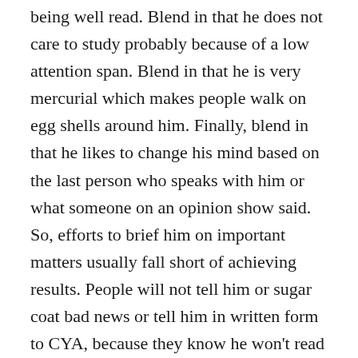being well read. Blend in that he does not care to study probably because of a low attention span. Blend in that he is very mercurial which makes people walk on egg shells around him. Finally, blend in that he likes to change his mind based on the last person who speaks with him or what someone on an opinion show said. So, efforts to brief him on important matters usually fall short of achieving results. People will not tell him or sugar coat bad news or tell him in written form to CYA, because they know he won't read it.
So, the question is does it make us feel safer that this person who repeatedly tells us how he perfectly answered a cognitive question has access to the nuclear codes? Keith